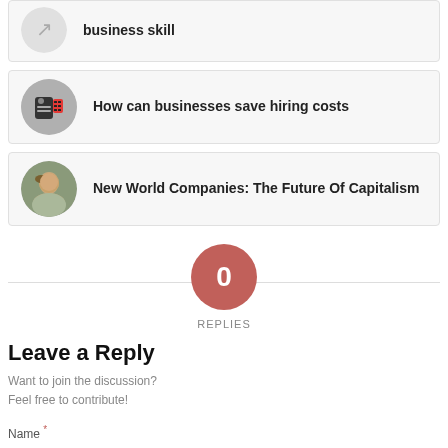[Figure (other): Partial card at top showing a circular icon or image and partial text 'business skill']
[Figure (other): Card with circular thumbnail of a red phone/calculator image]
How can businesses save hiring costs
[Figure (photo): Card with circular thumbnail of a man's face]
New World Companies: The Future Of Capitalism
[Figure (other): Circle with number 0 and REPLIES label below, with horizontal rule]
Leave a Reply
Want to join the discussion?
Feel free to contribute!
Name *